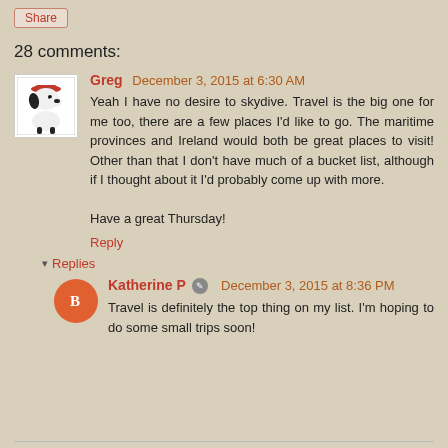Share
28 comments:
Greg  December 3, 2015 at 6:30 AM
Yeah I have no desire to skydive. Travel is the big one for me too, there are a few places I'd like to go. The maritime provinces and Ireland would both be great places to visit! Other than that I don't have much of a bucket list, although if I thought about it I'd probably come up with more.

Have a great Thursday!
Reply
Replies
Katherine P  December 3, 2015 at 8:36 PM
Travel is definitely the top thing on my list. I'm hoping to do some small trips soon!